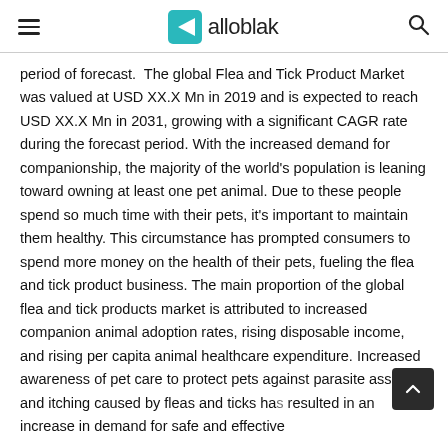alloblak
period of forecast.  The global Flea and Tick Product Market was valued at USD XX.X Mn in 2019 and is expected to reach USD XX.X Mn in 2031, growing with a significant CAGR rate during the forecast period. With the increased demand for companionship, the majority of the world's population is leaning toward owning at least one pet animal. Due to these people spend so much time with their pets, it's important to maintain them healthy. This circumstance has prompted consumers to spend more money on the health of their pets, fueling the flea and tick product business. The main proportion of the global flea and tick products market is attributed to increased companion animal adoption rates, rising disposable income, and rising per capita animal healthcare expenditure. Increased awareness of pet care to protect pets against parasite assaults and itching caused by fleas and ticks has resulted in an increase in demand for safe and effective